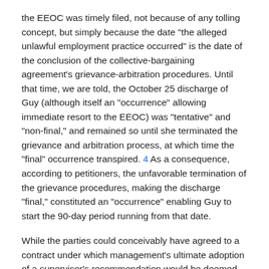the EEOC was timely filed, not because of any tolling concept, but simply because the date "the alleged unlawful employment practice occurred" is the date of the conclusion of the collective-bargaining agreement's grievance-arbitration procedures. Until that time, we are told, the October 25 discharge of Guy (although itself an "occurrence" allowing immediate resort to the EEOC) was "tentative" and "non-final," and remained so until she terminated the grievance and arbitration process, at which time the "final" occurrence transpired. 4 As a consequence, according to petitioners, the unfavorable termination of the grievance procedures, making the discharge "final," constituted an "occurrence" enabling Guy to start the 90-day period running from that date.
While the parties could conceivably have agreed to a contract under which management's ultimate adoption of a supervisor's recommendation would be deemed the relevant